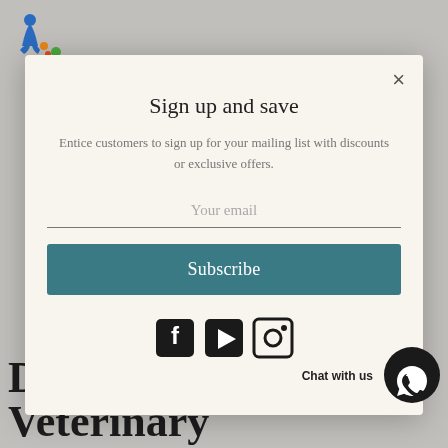[Figure (logo): Colorful logo with blue, orange, green abstract figures on white background]
Sign up and save
Entice customers to sign up for your mailing list with discounts or exclusive offers.
Your email
Subscribe
[Figure (illustration): Social media icons: Facebook, YouTube, Instagram]
Chat with us
Department of Veterinary